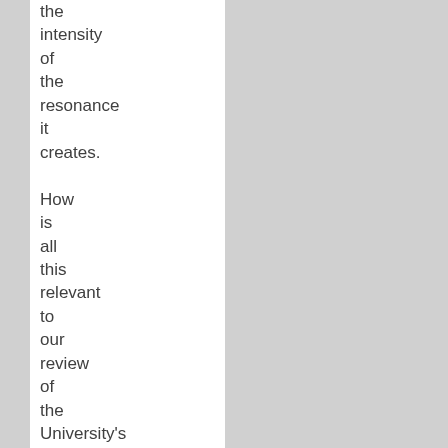the intensity of the resonance it creates. How is all this relevant to our review of the University's civility requirement? Civility connotes calmness, control, and deference or responsiveness to the circumstances,